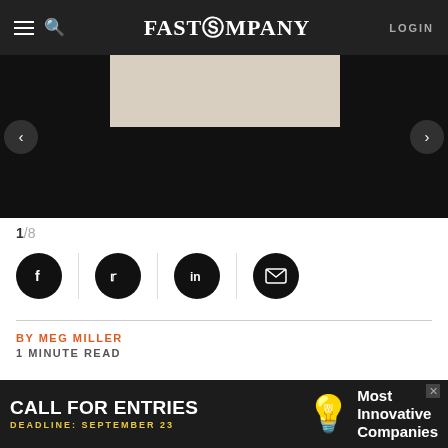FAST COMPANY
[Figure (photo): Hero image area with dark background and beige rectangle, article slideshow navigation arrows visible]
1/8
[Figure (infographic): Social share buttons: Facebook, Twitter, LinkedIn, Email]
BY MEG MILLER
1 MINUTE READ
There are few things more daunting than ending a
[Figure (infographic): Advertisement banner: CALL FOR ENTRIES - Most Innovative Companies - DEADLINE: SEPTEMBER 23]